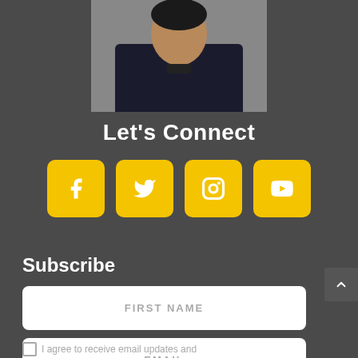[Figure (photo): Cropped photo of a person wearing a dark shirt, shown from the neck down/partially, against a grey background]
Let's Connect
[Figure (infographic): Four yellow rounded square social media icons: Facebook (f), Twitter (bird), Instagram (camera), YouTube (play button)]
Subscribe
FIRST NAME
EMAIL
I agree to receive email updates and